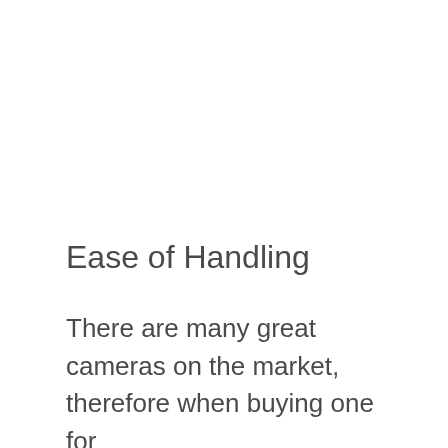Ease of Handling
There are many great cameras on the market, therefore when buying one for